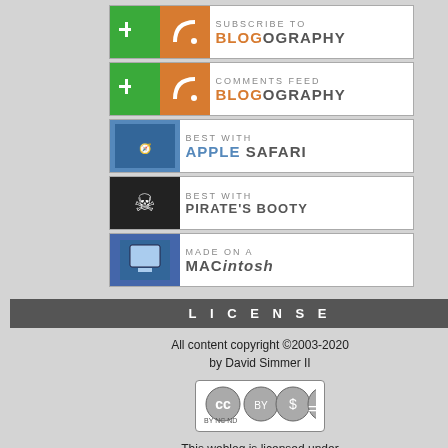[Figure (logo): Blogography RSS feed badge with green plus and orange RSS icon]
[Figure (logo): Blogography Comments Feed badge with green plus and orange RSS icon]
[Figure (logo): Best with Apple Safari badge]
[Figure (logo): Best with Pirate's Booty badge]
[Figure (logo): Made on a Macintosh badge]
LICENSE
All content copyright ©2003-2020 by David Simmer II
[Figure (logo): Creative Commons CC BY NC ND license badge]
This weblog is licensed under a Creative Commons License.
SSL SECURITY
Let's Encrypt SSL
[Figure (screenshot): iPhone screenshot showing app icons: Notes, Newsstand, Health, Phone]
Huzzah! But... I can't find much more detail. Is it a temporary thing? Does it work on all... a step in the right direction for... fear is that this only works on t...
Anyway...
The new seamless, ergono...